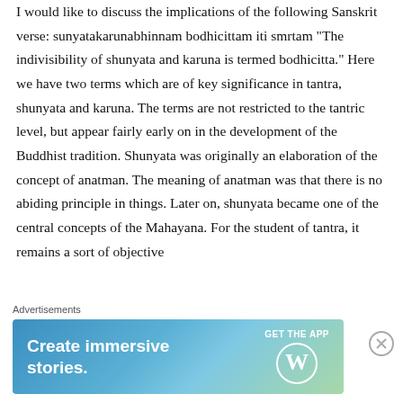I would like to discuss the implications of the following Sanskrit verse: sunyatakarunabhinnam bodhicittam iti smrtam "The indivisibility of shunyata and karuna is termed bodhicitta." Here we have two terms which are of key significance in tantra, shunyata and karuna. The terms are not restricted to the tantric level, but appear fairly early on in the development of the Buddhist tradition. Shunyata was originally an elaboration of the concept of anatman. The meaning of anatman was that there is no abiding principle in things. Later on, shunyata became one of the central concepts of the Mahayana. For the student of tantra, it remains a sort of objective
Advertisements
[Figure (other): WordPress advertisement banner with gradient blue-green background. Text reads 'Create immersive stories.' with 'GET THE APP' call to action and WordPress logo.]